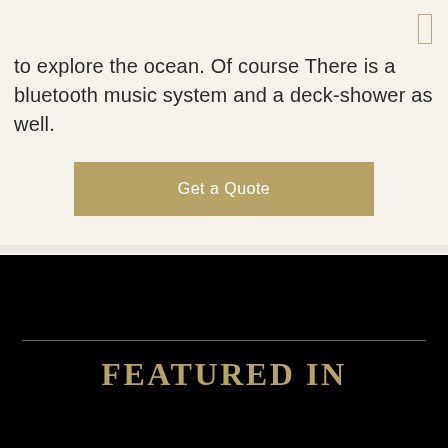to explore the ocean. Of course There is a bluetooth music system and a deck-shower as well.
Get a Quote
FEATURED IN